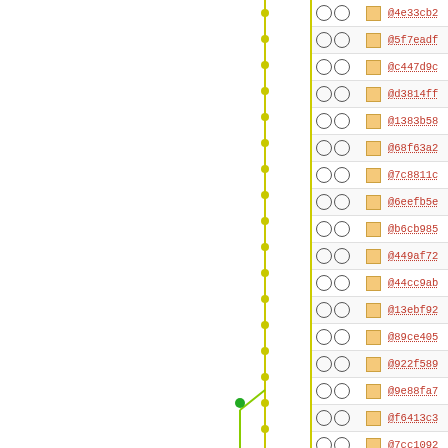|  |  | Hash | Age | Author | Message |
| --- | --- | --- | --- | --- | --- |
| ○ ○ | □ | @4e33cb2 ⚙ | 12 years | davidben | Pun… |
| ○ ○ | □ | @5f7eadf ⚙ | 12 years | davidben | Don… |
| ○ ○ | □ | @c447d9c ⚙ | 12 years | davidben | Also… |
| ○ ○ | □ | @d3814ff ⚙ | 12 years | davidben | Don… |
| ○ ○ | □ | @1383b58 ⚙ | 12 years | davidben | Loo… |
| ○ ○ | □ | @68f63a2 ⚙ | 12 years | davidben | Por… |
| ○ ○ | □ | @7c8811c ⚙ | 12 years | davidben | Fix … |
| ○ ○ | □ | @6eefb5e ⚙ | 12 years | davidben | Don… |
| ○ ○ | □ | @b6cb985 ⚙ | 12 years | davidben | Add… |
| ○ ○ | □ | @449af72 ⚙ | 12 years | davidben | Firs… |
| ○ ○ | □ | @44cc9ab ⚙ | 12 years | davidben | Whi… |
| ○ ○ | □ | @13ebf92 ⚙ | 12 years | davidben | Disp… |
| ○ ○ | □ | @89ce405 ⚙ | 12 years | nelhage | owl_… |
| ○ ○ | □ | @922f589 ⚙ | 12 years | davidben | Free… |
| ○ ○ | □ | @9e88fa7 ⚙ | 12 years | nelhage | Mer… |
| ○ ○ | □ | @f6413c3 ⚙ | 12 years | nelhage | Rem… |
| ○ ○ | □ | @7cc1092 ⚙ | 12 years | nelhage | Mer… |